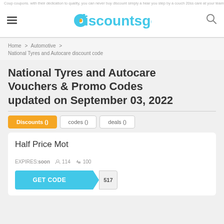Coup coupons. with their dedication to quality, you can never buy discount simply a hear you step by a couch 20ss care at your team online.
[Figure (logo): discountsgo logo with teal text and orange circle accent on the letter d]
Home > Automotive > National Tyres and Autocare discount code
National Tyres and Autocare Vouchers & Promo Codes updated on September 03, 2022
Discounts ()   codes ()   deals ()
Half Price Mot
EXPIRES:soon   114   100
GET CODE   517